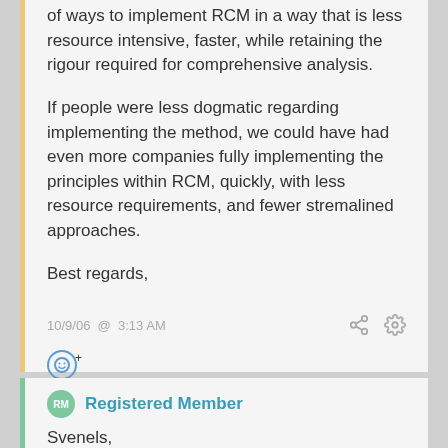of ways to implement RCM in a way that is less resource intensive, faster, while retaining the rigour required for comprehensive analysis.
If people were less dogmatic regarding implementing the method, we could have had even more companies fully implementing the principles within RCM, quickly, with less resource requirements, and fewer stremalined approaches.
Best regards,
10/9/06  @  3:13 AM
Registered Member
Svenels,